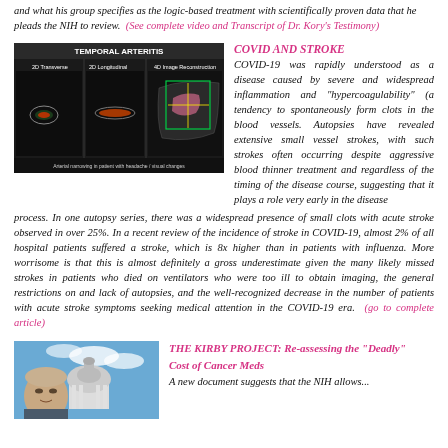and what his group specifies as the logic-based treatment with scientifically proven data that he pleads the NIH to review. (See complete video and Transcript of Dr. Kory's Testimony)
[Figure (photo): Ultrasound image labeled TEMPORAL ARTERITIS showing 2D Transverse, 2D Longitudinal, and 4D Image Reconstruction views of arterial narrowing in patient with headache/visual changes]
Arterial narrowing in patient with headache / visual changes
COVID AND STROKE
COVID-19 was rapidly understood as a disease caused by severe and widespread inflammation and "hypercoagulability" (a tendency to spontaneously form clots in the blood vessels. Autopsies have revealed extensive small vessel strokes, with such strokes often occurring despite aggressive blood thinner treatment and regardless of the timing of the disease course, suggesting that it plays a role very early in the disease process. In one autopsy series, there was a widespread presence of small clots with acute stroke observed in over 25%. In a recent review of the incidence of stroke in COVID-19, almost 2% of all hospital patients suffered a stroke, which is 8x higher than in patients with influenza. More worrisome is that this is almost definitely a gross underestimate given the many likely missed strokes in patients who died on ventilators who were too ill to obtain imaging, the general restrictions on and lack of autopsies, and the well-recognized decrease in the number of patients with acute stroke symptoms seeking medical attention in the COVID-19 era. (go to complete article)
[Figure (photo): Photo of a man in front of the US Capitol building dome]
THE KIRBY PROJECT: Re-assessing the "Deadly" Cost of Cancer Meds
A new document suggests that the NIH allows...